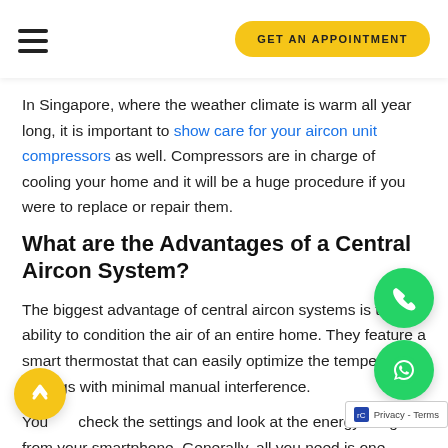GET AN APPOINTMENT
In Singapore, where the weather climate is warm all year long, it is important to show care for your aircon unit compressors as well. Compressors are in charge of cooling your home and it will be a huge procedure if you were to replace or repair them.
What are the Advantages of a Central Aircon System?
The biggest advantage of central aircon systems is their ability to condition the air of an entire home. They feature a smart thermostat that can easily optimize the temperature settings with minimal manual interference.
You can check the settings and look at the energy usage from your smartphone. Generally, all you need is one